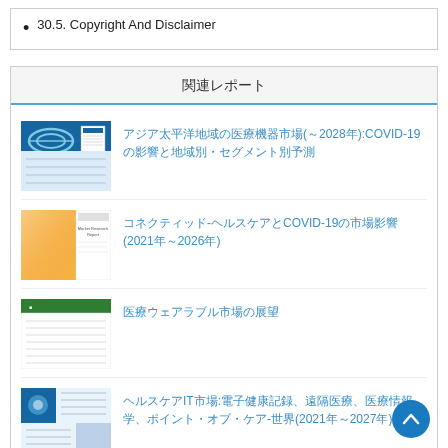30.5. Copyright And Disclaimer
関連レポート
アジア太平洋地域の医療機器市場(～2028年):COVID-19の影響と地域別・セグメント別予測
コネクティッド-ヘルスケアとCOVID-19の市場影響(2021年～2026年)
医療ウェアラブル市場の展望
ヘルスケアIT市場:電子健康記録、遠隔医療、医療情報学、ポイント・オブ・ケア-世界(2021年～2027年)